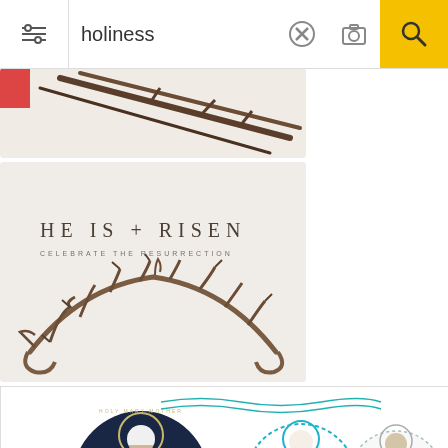[Figure (screenshot): Mobile search bar UI with filter icon, search query 'holiness', clear button, camera button, and yellow search button]
[Figure (illustration): Partial crown of thorns illustration on beige background, top portion cropped]
[Figure (illustration): Religious illustration: 'HE IS + RISEN / CELEBRATE THE RESURRECTION' text with crown of thorns on beige background]
[Figure (illustration): Three circular religious illustrations of Mary/Jesus figure: dark navy filled circle, teal outline, and light circle with dark figure, with decorative border elements]
[Figure (illustration): Three silhouette crosses on misty/foggy background in gray-blue tones, partially visible at bottom]